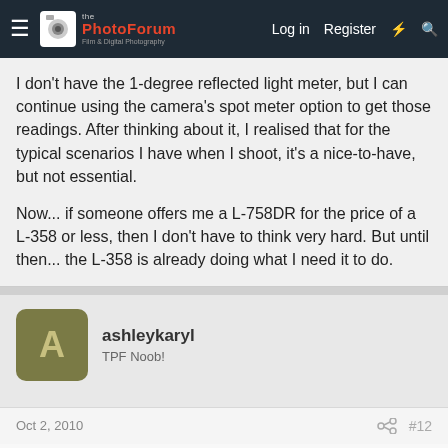The Photo Forum - Log in Register
I don't have the 1-degree reflected light meter, but I can continue using the camera's spot meter option to get those readings. After thinking about it, I realised that for the typical scenarios I have when I shoot, it's a nice-to-have, but not essential.

Now... if someone offers me a L-758DR for the price of a L-358 or less, then I don't have to think very hard. But until then... the L-358 is already doing what I need it to do.
ashleykaryl
TPF Noob!
Oct 2, 2010
#12
It sounds like you made a sensible decision. Over here in the UK I was looking at retailers selling the L-358 at £200 and selling that same lens in the straight black chassis is for the